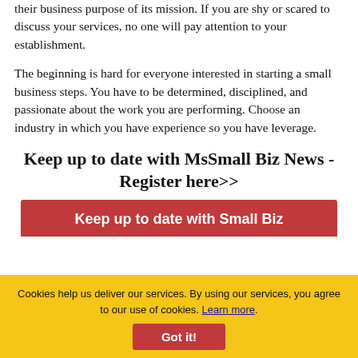their business purpose of its mission. If you are shy or scared to discuss your services, no one will pay attention to your establishment.
The beginning is hard for everyone interested in starting a small business steps. You have to be determined, disciplined, and passionate about the work you are performing. Choose an industry in which you have experience so you have leverage.
Keep up to date with MsSmall Biz News - Register here>>
Keep up to date with Small Biz
Cookies help us deliver our services. By using our services, you agree to our use of cookies. Learn more.
Got it!